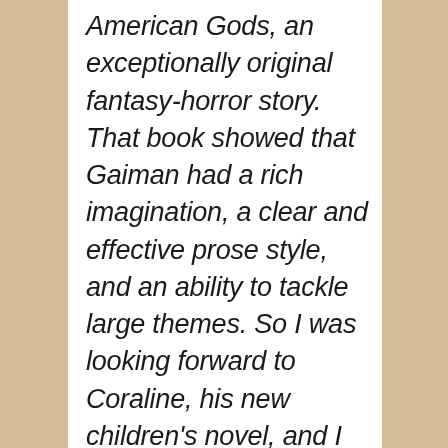American Gods, an exceptionally original fantasy-horror story. That book showed that Gaiman had a rich imagination, a clear and effective prose style, and an ability to tackle large themes. So I was looking forward to Coraline, his new children's novel, and I wasn't disappointed...